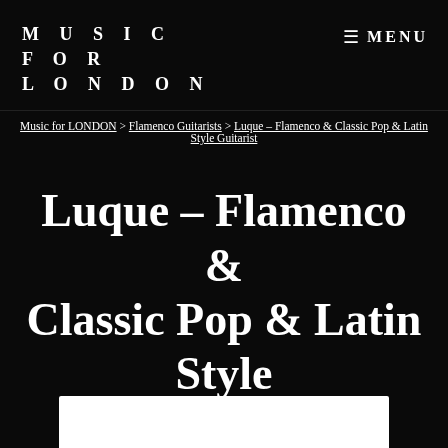MUSIC FOR LONDON
MENU
Music for LONDON > Flamenco Guitarists > Luque – Flamenco & Classic Pop & Latin Style Guitarist
Luque – Flamenco & Classic Pop & Latin Style Guitarist